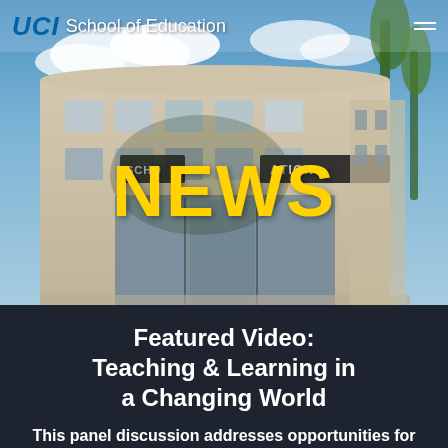[Figure (photo): Exterior photograph of the UCI School of Education building, a modern multi-story building with large windows and palm trees. The building facade shows 'SCHOOL OF EDUCATION' signage. Blue sky with clouds in the background.]
UCI School of Education
NEWS
Featured Video: Teaching & Learning in a Changing World
This panel discussion addresses opportunities for